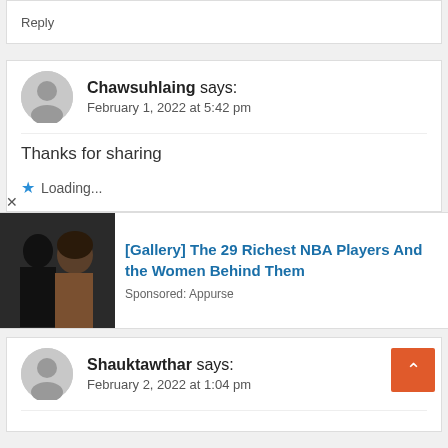Reply
Chawsuhlaing says:
February 1, 2022 at 5:42 pm
Thanks for sharing
Loading...
[Gallery] The 29 Richest NBA Players And the Women Behind Them
Sponsored: Appurse
Shauktawthar says:
February 2, 2022 at 1:04 pm